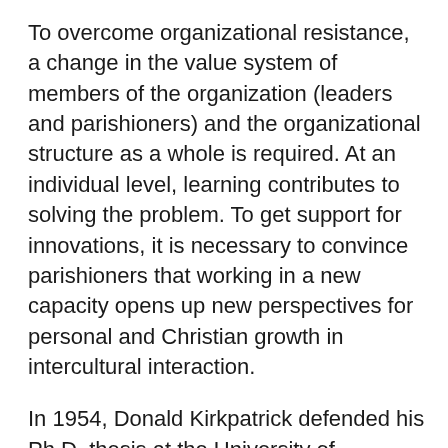To overcome organizational resistance, a change in the value system of members of the organization (leaders and parishioners) and the organizational structure as a whole is required. At an individual level, learning contributes to solving the problem. To get support for innovations, it is necessary to convince parishioners that working in a new capacity opens up new perspectives for personal and Christian growth in intercultural interaction.
In 1954, Donald Kirkpatrick defended his Ph.D. thesis at the University of Wisconsin (USA) on the topic “Assessing the effectiveness of program management.” He proposed a brief formula to describe the learning cycle: reaction – learning – behavior – results. The division of the learning process into stages helped explain how to ensure the application of new skills in the workplace, without which the desired results cannot be achieved. In